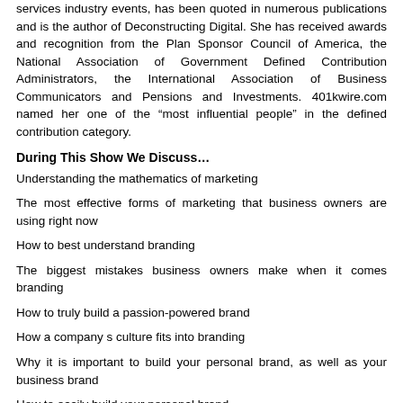services industry events, has been quoted in numerous publications and is the author of Deconstructing Digital. She has received awards and recognition from the Plan Sponsor Council of America, the National Association of Government Defined Contribution Administrators, the International Association of Business Communicators and Pensions and Investments. 401kwire.com named her one of the “most influential people” in the defined contribution category.
During This Show We Discuss…
Understanding the mathematics of marketing
The most effective forms of marketing that business owners are using right now
How to best understand branding
The biggest mistakes business owners make when it comes branding
How to truly build a passion-powered brand
How a company s culture fits into branding
Why it is important to build your personal brand, as well as your business brand
How to easily build your personal brand
What social selling is, and how it works